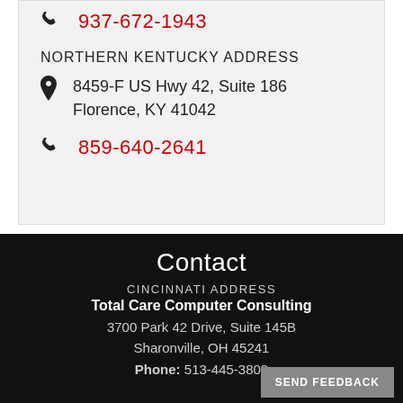937-672-1943
NORTHERN KENTUCKY ADDRESS
8459-F US Hwy 42, Suite 186
Florence, KY 41042
859-640-2641
Contact
CINCINNATI ADDRESS
Total Care Computer Consulting
3700 Park 42 Drive, Suite 145B
Sharonville, OH 45241
Phone: 513-445-3803
SEND FEEDBACK